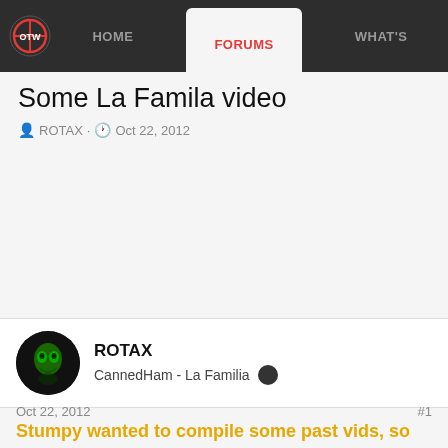HOME | FORUMS | WHAT'S
Some La Famila video
ROTAX · Oct 22, 2012
[Figure (other): Blank video embed area]
ROTAX
CannedHam - La Familia
Oct 22, 2012    #1
Stumpy wanted to compile some past vids, so here ya go (He says to watch it in HD, whatever the hell than means)?? 😉